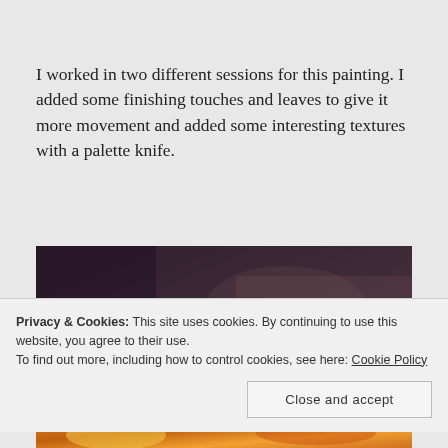I worked in two different sessions for this painting. I added some finishing touches and leaves to give it more movement and added some interesting textures with a palette knife.
[Figure (photo): A dark moody oil painting showing a partially visible figure or face with brownish-purple tones and textured brushwork]
Privacy & Cookies: This site uses cookies. By continuing to use this website, you agree to their use.
To find out more, including how to control cookies, see here: Cookie Policy
Close and accept
[Figure (photo): Bottom portion of another painting showing warm orange and yellow tones]